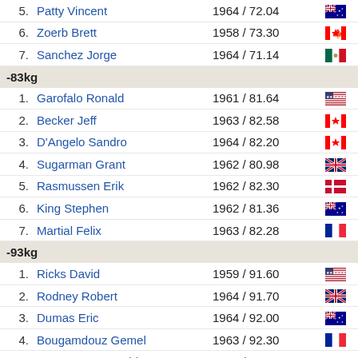| Rank | Name | Year / Weight | Country |
| --- | --- | --- | --- |
| 5. | Patty Vincent | 1964 / 72.04 | AUS |
| 6. | Zoerb Brett | 1958 / 73.30 | CAN |
| 7. | Sanchez Jorge | 1964 / 71.14 | MEX |
| -83kg |  |  |  |
| 1. | Garofalo Ronald | 1961 / 81.64 | USA |
| 2. | Becker Jeff | 1963 / 82.58 | CAN |
| 3. | D'Angelo Sandro | 1964 / 82.20 | CAN |
| 4. | Sugarman Grant | 1962 / 80.98 | GBR |
| 5. | Rasmussen Erik | 1962 / 82.30 | DEN |
| 6. | King Stephen | 1962 / 81.36 | AUS |
| 7. | Martial Felix | 1963 / 82.28 | FRA |
| -93kg |  |  |  |
| 1. | Ricks David | 1959 / 91.60 | USA |
| 2. | Rodney Robert | 1964 / 91.70 | GBR |
| 3. | Dumas Eric | 1964 / 92.00 | AUS |
| 4. | Bougamdouz Gemel | 1963 / 92.30 | FRA |
| 5. | Hasegawa Yasushi | 1966 / 90.90 | JPN |
| -105kg |  |  |  |
| 1. | Brown Leon | 1966 / 101.80 | CAN |
| 2. | Titus Greg | 1966 / 100.30 | USA |
| 3. | Elbaraasi Farag A Farag | 1966 / 102.70 | LBA |
| 4. | Cooper Chris | 1962 / 102.50 | GBR |
| 5. | ... | 1966 / ... |  |